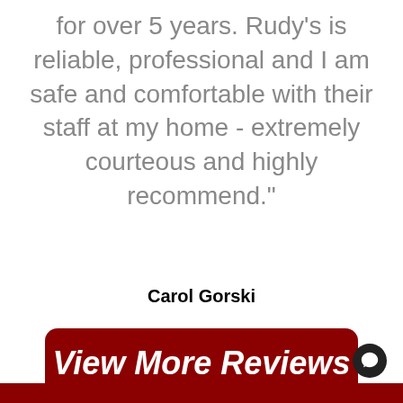for over 5 years. Rudy's is reliable, professional and I am safe and comfortable with their staff at my home - extremely courteous and highly recommend."
Carol Gorski
View More Reviews